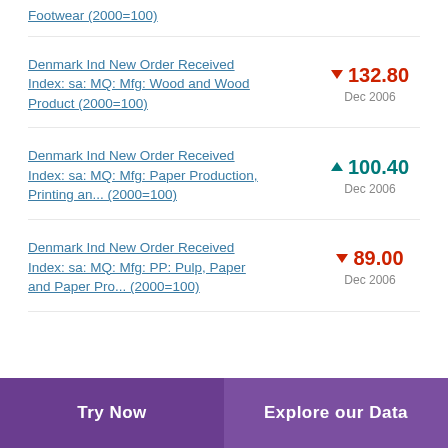Footwear (2000=100) ▼ 132.80 Dec 2006
Denmark Ind New Order Received Index: sa: MQ: Mfg: Wood and Wood Product (2000=100) ▼ 132.80 Dec 2006
Denmark Ind New Order Received Index: sa: MQ: Mfg: Paper Production, Printing an... (2000=100) ▲ 100.40 Dec 2006
Denmark Ind New Order Received Index: sa: MQ: Mfg: PP: Pulp, Paper and Paper Pro... (2000=100) ▼ 89.00 Dec 2006
Try Now | Explore our Data